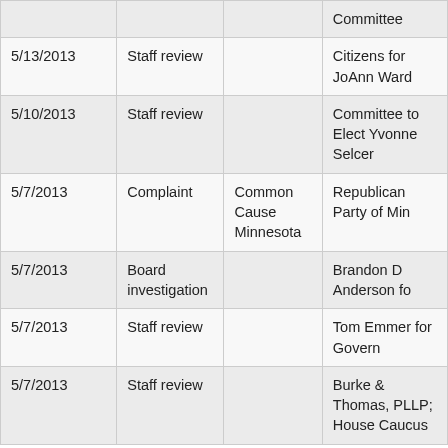|  |  |  | Committee |
| 5/13/2013 | Staff review |  | Citizens for JoAnn Ward |
| 5/10/2013 | Staff review |  | Committee to Elect Yvonne Selcer |
| 5/7/2013 | Complaint | Common Cause Minnesota | Republican Party of Min... |
| 5/7/2013 | Board investigation |  | Brandon D Anderson fo... |
| 5/7/2013 | Staff review |  | Tom Emmer for Governo... |
| 5/7/2013 | Staff review |  | Burke & Thomas, PLLP; House Caucus |